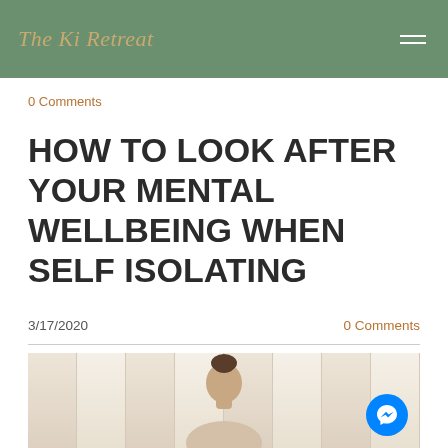The Ki Retreat
0 Comments
HOW TO LOOK AFTER YOUR MENTAL WELLBEING WHEN SELF ISOLATING
3/17/2020
0 Comments
[Figure (photo): Woman with hair in a bun standing near sheer curtains/drapes in a light, airy room]